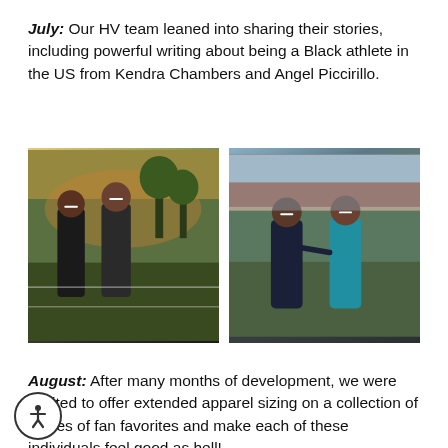July: Our HV team leaned into sharing their stories, including powerful writing about being a Black athlete in the US from Kendra Chambers and Angel Piccirillo.
[Figure (photo): Two Black female athletes laughing and walking on a grass/turf field at sunset. One is wearing a black sports bra and shorts.]
[Figure (photo): Two Black female athletes posing together on a track field. One wears a dark navy jacket, the other wears a teal/turquoise top.]
August: After many months of development, we were excited to offer extended apparel sizing on a collection of pieces of fan favorites and make each of these individuals feel good as hell!